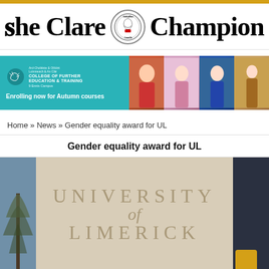[Figure (logo): The Clare Champion newspaper masthead with blackletter typography and circular crest in the center]
[Figure (infographic): Advertisement banner for College of Further Education & Training, Limerick & Clare, with text 'Enrolling now for Autumn courses' and photos of students]
Home » News » Gender equality award for UL
Gender equality award for UL
[Figure (photo): Photograph of University of Limerick stone entrance sign reading 'UNIVERSITY of LIMERICK' with trees in background]